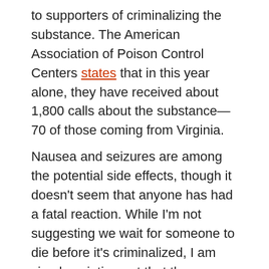to supporters of criminalizing the substance. The American Association of Poison Control Centers states that in this year alone, they have received about 1,800 calls about the substance—70 of those coming from Virginia.
Nausea and seizures are among the potential side effects, though it doesn't seem that anyone has had a fatal reaction. While I'm not suggesting we wait for someone to die before it's criminalized, I am simply pointing out that there are far more dangerous legal substances currently on the market with no bans in place.
The substance is marketed as incense and usually involves spraying a number of chemicals on dried leaves like catnip. Makers of K2 and other forms of spice state it is not meant to be smoked and they cannot control what their consumers choose to do with it.